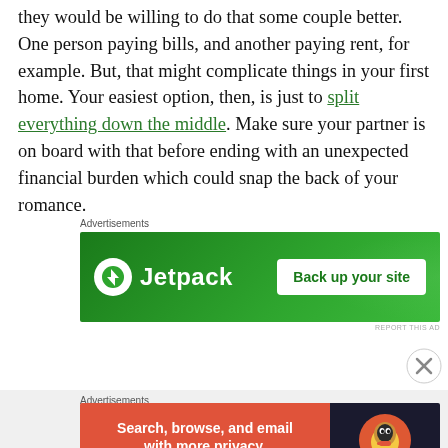they would be willing to do that some couple better. One person paying bills, and another paying rent, for example. But, that might complicate things in your first home. Your easiest option, then, is just to split everything down the middle. Make sure your partner is on board with that before ending with an unexpected financial burden which could snap the back of your romance.
Advertisements
[Figure (other): Jetpack advertisement banner: green background with Jetpack logo and 'Back up your site' button]
Advertisements
[Figure (other): DuckDuckGo advertisement: 'Search, browse, and email with more privacy. All in One Free App' with DuckDuckGo logo on dark background]